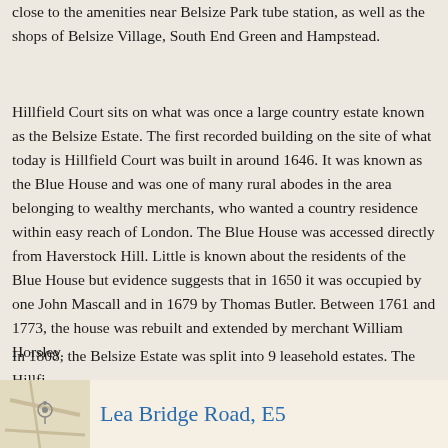close to the amenities near Belsize Park tube station, as well as the shops of Belsize Village, South End Green and Hampstead.
Hillfield Court sits on what was once a large country estate known as the Belsize Estate. The first recorded building on the site of what today is Hillfield Court was built in around 1646. It was known as the Blue House and was one of many rural abodes in the area belonging to wealthy merchants, who wanted a country residence within easy reach of London. The Blue House was accessed directly from Haverstock Hill. Little is known about the residents of the Blue House but evidence suggests that in 1650 it was occupied by one John Mascall and in 1679 by Thomas Butler. Between 1761 and 1773, the house was rebuilt and extended by merchant William Horsley.
In 1808, the Belsize Estate was split into 9 leasehold estates. The Hillfi...
»more
Lea Bridge Road, E5